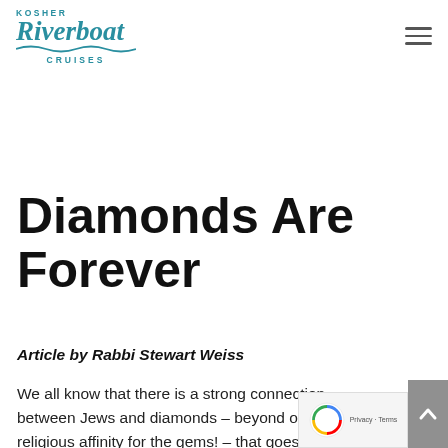KOSHER Riverboat CRUISES
Diamonds Are Forever
Article by Rabbi Stewart Weiss
We all know that there is a strong connection between Jews and diamonds – beyond our wives religious affinity for the gems! – that goes